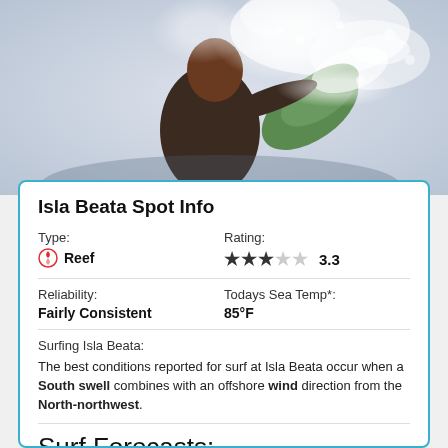[Figure (photo): Surfer action shot with water spray and green surfboard, viewed from behind]
Isla Beata Spot Info
Type:
Reef
Rating:
3.3
Reliability:
Fairly Consistent
Todays Sea Temp*:
85°F
Surfing Isla Beata:
The best conditions reported for surf at Isla Beata occur when a South swell combines with an offshore wind direction from the North-northwest.
Surf Forecasts: